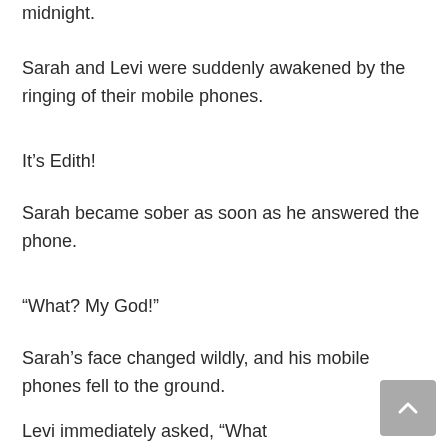midnight.
Sarah and Levi were suddenly awakened by the ringing of their mobile phones.
It's Edith!
Sarah became sober as soon as he answered the phone.
“What? My God!”
Sarah’s face changed wildly, and his mobile phones fell to the ground.
Levi immediately asked, “What happened?”